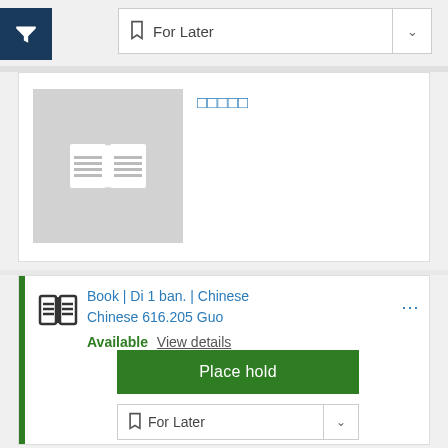[Figure (screenshot): Library catalog UI screenshot showing filter button, For Later dropdown, book cover placeholder with Chinese title, item details with availability, Place hold button, and For Later dropdown]
For Later
□□□□□
Book | Di 1 ban. | Chinese Chinese 616.205 Guo
Available View details
Place hold
For Later